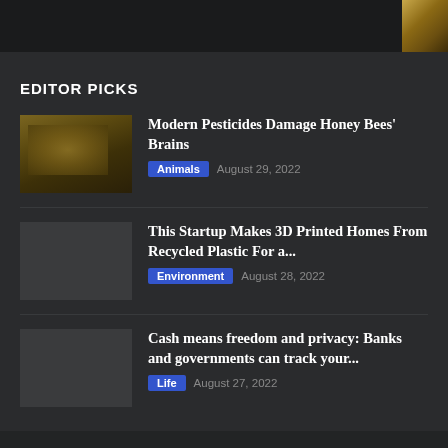[Figure (photo): Partial image of honey bees visible in top-right corner of page header]
EDITOR PICKS
[Figure (photo): Close-up photo of honey bees on honeycomb]
Modern Pesticides Damage Honey Bees' Brains
Animals  August 29, 2022
[Figure (photo): Placeholder thumbnail for 3D printed homes article]
This Startup Makes 3D Printed Homes From Recycled Plastic For a...
Environment  August 28, 2022
[Figure (photo): Placeholder thumbnail for cash freedom article]
Cash means freedom and privacy: Banks and governments can track your...
Life  August 27, 2022